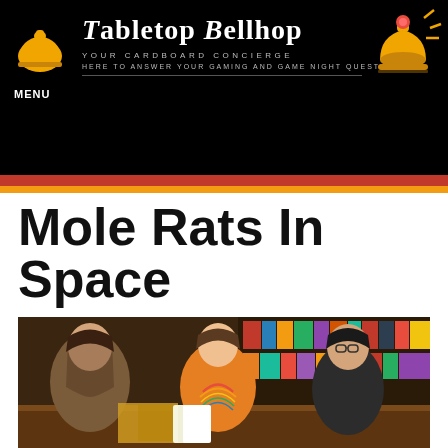[Figure (logo): Tabletop Bellhop website header. Black background with bell icon on the left, decorative logo text 'Tabletop Bellhop' in center-right, taglines 'YOUR CARDBOARD CONCIERGE' and 'HERE TO ANSWER YOUR GAMING AND GAME NIGHT QUESTIONS', and illuminated bell icon on the right. MENU text on the left side.]
Mole Rats In Space
[Figure (photo): Three people (two women/girls and one in an orange rainbow t-shirt) sitting around a table playing a board game. Shelves with board games visible in the background.]